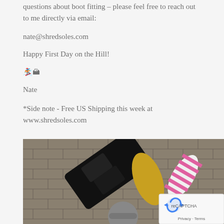questions about boot fitting – please feel free to reach out to me directly via email:
nate@shredsoles.com
Happy First Day on the Hill!
🏂🏔
Nate
*Side note - Free US Shipping this week at www.shredsoles.com
[Figure (photo): Overhead view of snowboard gear and accessories laid out on brick pavement, with snowboard bindings, insoles, and other items visible. A reCAPTCHA widget is overlaid in the bottom right corner.]